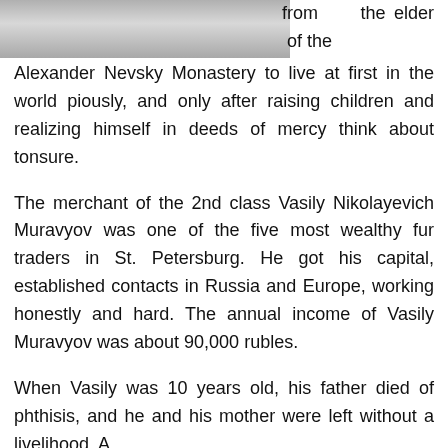[Figure (photo): A black and white photograph partial view, showing a landscape or portrait, cut off at the bottom of the image area.]
from the elder of the Alexander Nevsky Monastery to live at first in the world piously, and only after raising children and realizing himself in deeds of mercy think about tonsure.

The merchant of the 2nd class Vasily Nikolayevich Muravyov was one of the five most wealthy fur traders in St. Petersburg. He got his capital, established contacts in Russia and Europe, working honestly and hard. The annual income of Vasily Muravyov was about 90,000 rubles.

When Vasily was 10 years old, his father died of phthisis, and he and his mother were left without a livelihood. A